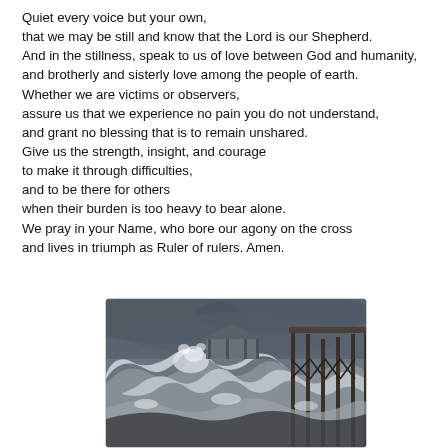Quiet every voice but your own,
that we may be still and know that the Lord is our Shepherd.
And in the stillness, speak to us of love between God and humanity,
and brotherly and sisterly love among the people of earth.
Whether we are victims or observers,
assure us that we experience no pain you do not understand,
and grant no blessing that is to remain unshared.
Give us the strength, insight, and courage
to make it through difficulties,
and to be there for others
when their burden is too heavy to bear alone.
We pray in your Name, who bore our agony on the cross
and lives in triumph as Ruler of rulers. Amen.
[Figure (photo): Black and white photograph of large ocean waves crashing against a pier structure during a storm, with a small gazebo or pavilion visible in the background]